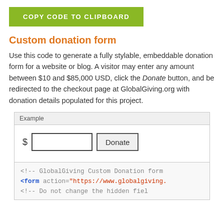[Figure (screenshot): Green button labeled COPY CODE TO CLIPBOARD]
Custom donation form
Use this code to generate a fully stylable, embeddable donation form for a website or blog. A visitor may enter any amount between $10 and $85,000 USD, click the Donate button, and be redirected to the checkout page at GlobalGiving.org with donation details populated for this project.
[Figure (screenshot): Example donation form with a dollar sign, text input field, and Donate button. Below it shows HTML code starting with <!-- GlobalGiving Custom Donation form, <form action="https://www.globalgiving..., <!-- Do not change the hidden fiel...]
Example